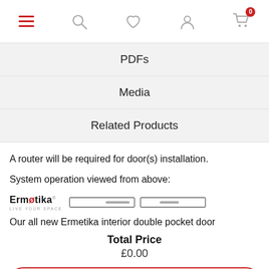[Figure (screenshot): Navigation bar with hamburger menu (red), search icon, heart/wishlist icon, user account icon, and shopping cart icon with badge showing 0]
PDFs
Media
Related Products
A router will be required for door(s) installation.
System operation viewed from above:
[Figure (logo): Ermetika logo with LIVE YOUR SPACE tagline, alongside a horizontal diagram showing door operation schematic (double pocket door system view from above)]
Our all new Ermetika interior double pocket door
Total Price
£0.00
Choose product